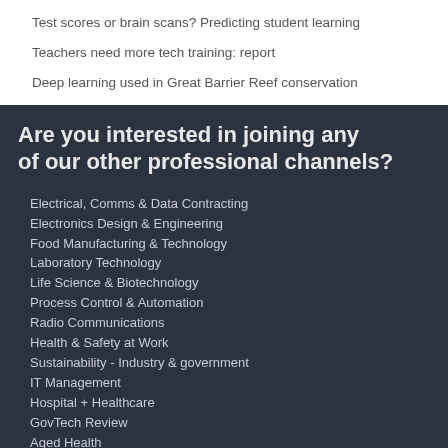Test scores or brain scans? Predicting student learning
Teachers need more tech training: report
Deep learning used in Great Barrier Reef conservation
Are you interested in joining any of our other professional channels?
Electrical, Comms & Data Contracting
Electronics Design & Engineering
Food Manufacturing & Technology
Laboratory Technology
Life Science & Biotechnology
Process Control & Automation
Radio Communications
Health & Safety at Work
Sustainability - Industry & government
IT Management
Hospital + Healthcare
GovTech Review
Aged Health